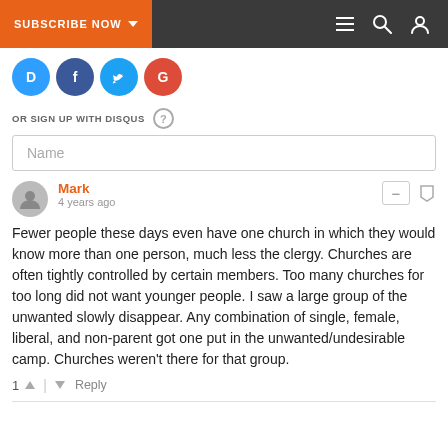SUBSCRIBE NOW
[Figure (logo): Social login icons: Disqus (blue D), Facebook (blue f), Twitter (blue bird), Google (red G)]
OR SIGN UP WITH DISQUS
Name
Mark
4 years ago
Fewer people these days even have one church in which they would know more than one person, much less the clergy. Churches are often tightly controlled by certain members. Too many churches for too long did not want younger people. I saw a large group of the unwanted slowly disappear. Any combination of single, female, liberal, and non-parent got one put in the unwanted/undesirable camp. Churches weren't there for that group.
1 ↑ | ↓ Reply